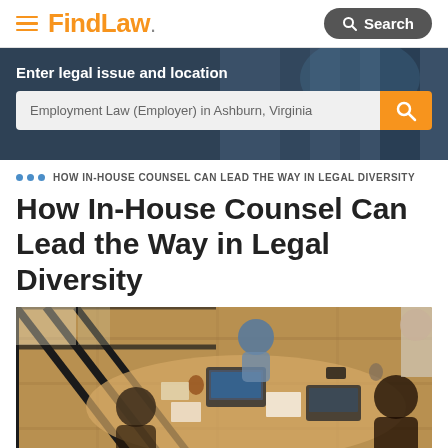FindLaw. Search
Enter legal issue and location
Employment Law (Employer) in Ashburn, Virginia
HOW IN-HOUSE COUNSEL CAN LEAD THE WAY IN LEGAL DIVERSITY
How In-House Counsel Can Lead the Way in Legal Diversity
[Figure (photo): Overhead view of diverse group of people working at a large table with laptops, documents, and coffee cups in a bright office with large windows.]